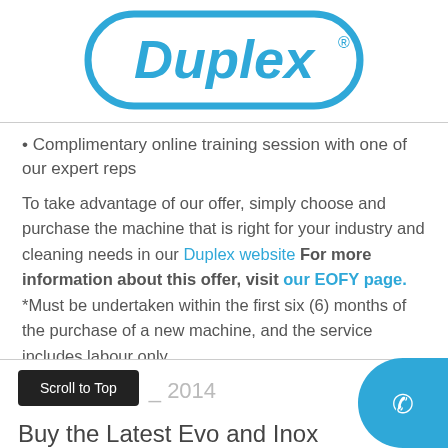[Figure (logo): Duplex logo — blue rounded rectangle outline with 'Duplex' in blue italic text and registered trademark symbol]
Complimentary online training session with one of our expert reps
To take advantage of our offer, simply choose and purchase the machine that is right for your industry and cleaning needs in our Duplex website For more information about this offer, visit our EOFY page. *Must be undertaken within the first six (6) months of the purchase of a new machine, and the service includes labour only.
Scroll to Top   2014   Buy the Latest Evo and Inox